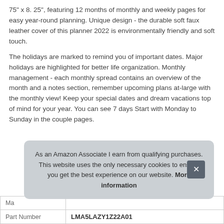75" x 8. 25", featuring 12 months of monthly and weekly pages for easy year-round planning. Unique design - the durable soft faux leather cover of this planner 2022 is environmentally friendly and soft touch.
The holidays are marked to remind you of important dates. Major holidays are highlighted for better life organization. Monthly management - each monthly spread contains an overview of the month and a notes section, remember upcoming plans at-large with the monthly view! Keep your special dates and dream vacations top of mind for your year. You can see 7 days Start with Monday to Sunday in the couple pages.
As an Amazon Associate I earn from qualifying purchases. This website uses the only necessary cookies to ensure you get the best experience on our website. More information
| Ma |  |
| Part Number | LMA5LAZY1Z22A01 |